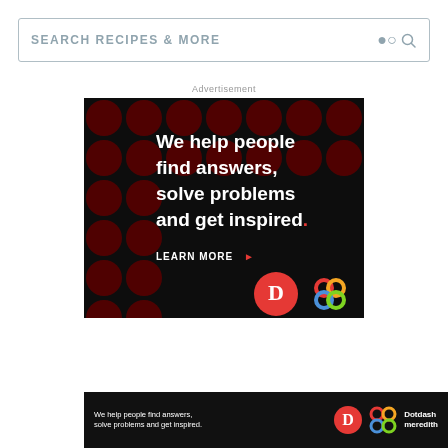SEARCH RECIPES & MORE
Advertisement
[Figure (illustration): Dotdash Meredith advertisement banner with dark background and decorative red dot pattern. Text reads: We help people find answers, solve problems and get inspired. LEARN MORE. Features Dotdash D logo in red circle and Meredith colorful knot logo.]
[Figure (illustration): Sticky bottom banner ad: We help people find answers, solve problems and get inspired. With Dotdash D logo, Meredith knot logo, and Dotdash meredith text.]